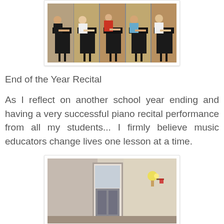[Figure (photo): A collage of five photos showing different children playing piano at what appears to be a recital. Each child is seated at a grand piano, photographed from the side.]
End of the Year Recital
As I reflect on another school year ending and having a very successful piano recital performance from all my students... I firmly believe music educators change lives one lesson at a time.
[Figure (photo): A photo of a room interior showing a door with glass panels and a wall sconce light fixture, appearing to be a music studio or recital room.]